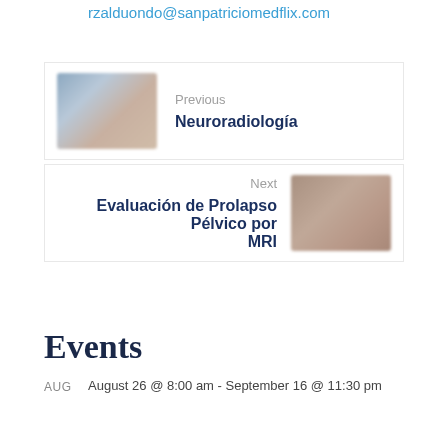rzalduondo@sanpatriciomedflix.com
[Figure (other): Navigation block: Previous post thumbnail (blurred image, blue-gray tones) with label 'Previous' and title 'Neuroradiología']
[Figure (other): Navigation block: Next post thumbnail (blurred image, brown tones) with label 'Next' and title 'Evaluación de Prolapso Pélvico por MRI']
Events
AUG    August 26 @ 8:00 am - September 16 @ 11:30 pm